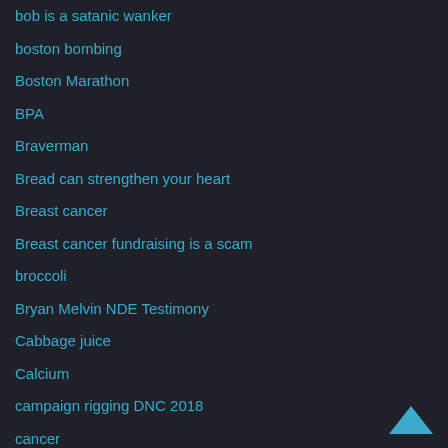bob is a satanic wanker
boston bombing
Boston Marathon
BPA
Braverman
Bread can strengthen your heart
Breast cancer
Breast cancer fundraising is a scam
broccoli
Bryan Melvin NDE Testimony
Cabbage juice
Calcium
campaign rigging DNC 2018
cancer
CANCER IS CURABLE NOW
[Figure (illustration): Upward-pointing chevron/caret scroll-up button icon in teal/cyan color, positioned bottom-right corner]